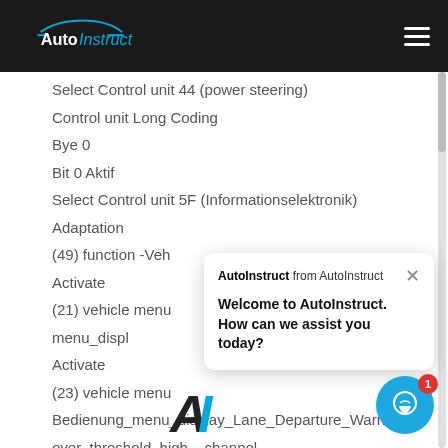AutoInstruct
Select Control unit 44 (power steering)
Control unit Long Coding
Bye 0
Bit 0 Aktif
Select Control unit 5F (Informationselektronik)
Adaptation
(49) function -Veh
Activate
(21) vehicle menu
menu_display_a
Activate
(23) vehicle menu
Bedienung_menu_display_Lane_Departure_Warning
over_threshold_high – channel
AutoInstruct from AutoInstruct
Welcome to AutoInstruct. How can we assist you today?